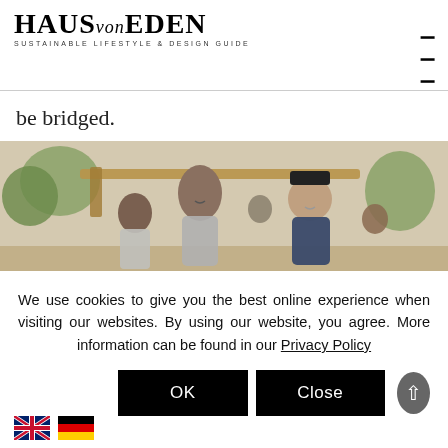HAUS von EDEN — SUSTAINABLE LIFESTYLE & DESIGN GUIDE
be bridged.
[Figure (photo): Outdoor scene showing several people including a child and adults smiling and working together under a wooden structure with trees in background]
We use cookies to give you the best online experience when visiting our websites. By using our website, you agree. More information can be found in our Privacy Policy
OK
Close